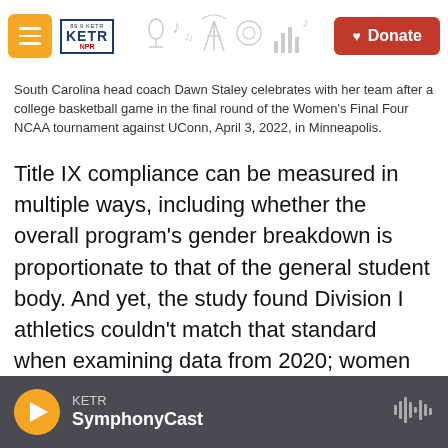KETR radio station navigation bar with menu button, logo, decorative icons, and Donate button
South Carolina head coach Dawn Staley celebrates with her team after a college basketball game in the final round of the Women's Final Four NCAA tournament against UConn, April 3, 2022, in Minneapolis.
Title IX compliance can be measured in multiple ways, including whether the overall program's gender breakdown is proportionate to that of the general student body. And yet, the study found Division I athletics couldn't match that standard when examining data from 2020; women accounted for 54% of the undergraduate student body in Division I compared to that aforementioned 47.1% rate.
KETR SymphonyCast — audio player bar